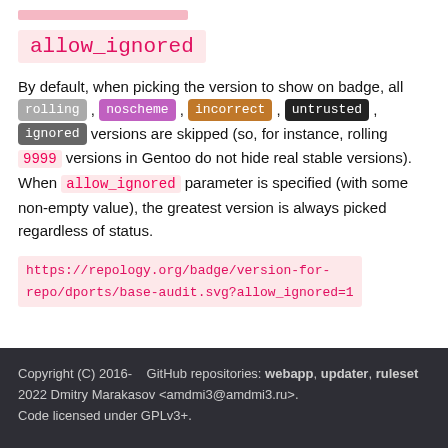allow_ignored
By default, when picking the version to show on badge, all rolling , noscheme , incorrect , untrusted , ignored versions are skipped (so, for instance, rolling 9999 versions in Gentoo do not hide real stable versions). When allow_ignored parameter is specified (with some non-empty value), the greatest version is always picked regardless of status.
https://repology.org/badge/version-for-repo/dports/base-audit.svg?allow_ignored=1
Copyright (C) 2016-2022 Dmitry Marakasov <amdmi3@amdmi3.ru>. Code licensed under GPLv3+.    GitHub repositories: webapp, updater, ruleset